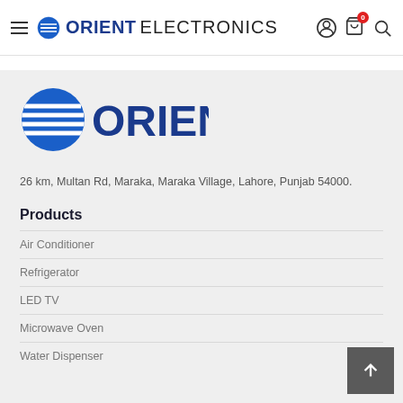ORIENT ELECTRONICS — navigation bar with hamburger menu, logo, user icon, cart (0), search icon
[Figure (logo): Orient Electronics logo — blue globe with white stripes and bold blue ORIENT text]
26 km, Multan Rd, Maraka, Maraka Village, Lahore, Punjab 54000.
Products
Air Conditioner
Refrigerator
LED TV
Microwave Oven
Water Dispenser